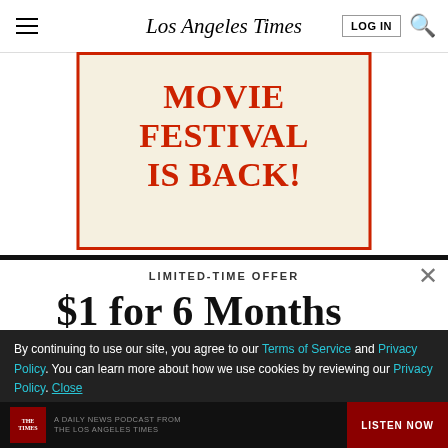Los Angeles Times
[Figure (infographic): Advertisement banner with red border on cream background reading 'MOVIE FESTIVAL IS BACK!' in bold red serif text]
LIMITED-TIME OFFER
$1 for 6 Months
SUBSCRIBE NOW
By continuing to use our site, you agree to our Terms of Service and Privacy Policy. You can learn more about how we use cookies by reviewing our Privacy Policy. Close